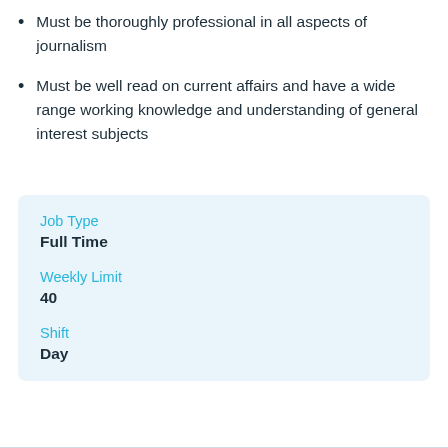Must be thoroughly professional in all aspects of journalism
Must be well read on current affairs and have a wide range working knowledge and understanding of general interest subjects
Job Type
Full Time
Weekly Limit
40
Shift
Day